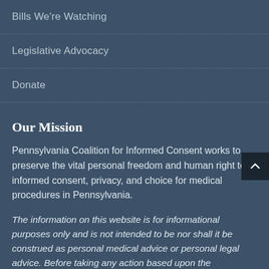Bills We're Watching
Legislative Advocacy
Donate
Our Mission
Pennsylvania Coalition for Informed Consent works to preserve the vital personal freedom and human right to informed consent, privacy, and choice for medical procedures in Pennsylvania.
The information on this website is for informational purposes only and is not intended to be nor shall it be construed as personal medical advice or personal legal advice. Before taking any action based upon the information on this site, you should consult with your